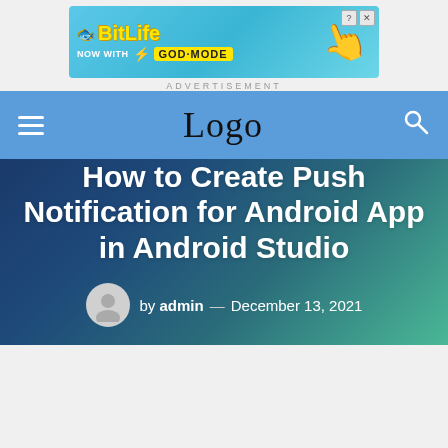[Figure (illustration): BitLife advertisement banner with 'NOW WITH GOD MODE' text and cartoon finger]
ADVERTISEMENT
Logo
How to Create Push Notification for Android App in Android Studio
by admin — December 13, 2021